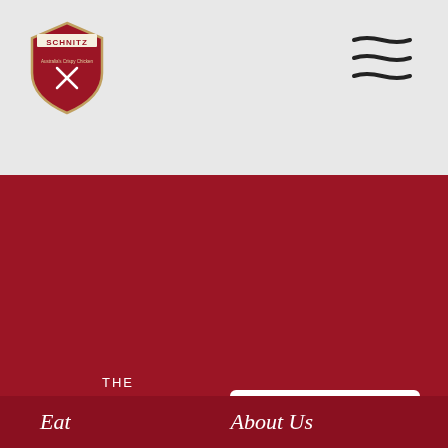[Figure (logo): Schnitz restaurant logo — shield shape with crossed cutlery, text SCHNITZ on banner]
[Figure (illustration): Hamburger menu icon — three horizontal lines with curved/strikethrough style]
THE Crumb Collective LOYALITY PROGRAM
JOIN NOW
LOGIN
[Figure (illustration): Social media icons: Facebook, Instagram, LinkedIn]
Eat
About Us